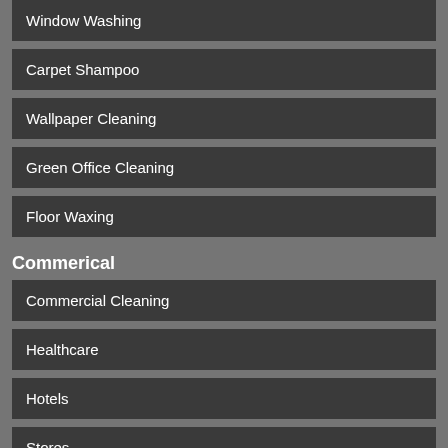Window Washing
Carpet Shampoo
Wallpaper Cleaning
Green Office Cleaning
Floor Waxing
Commerical
Commercial Cleaning
Healthcare
Hotels
Stores
Restaurant